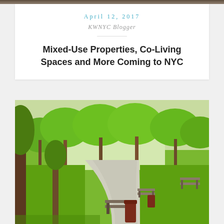[Figure (photo): Top strip image of trees/outdoor scene]
April 12, 2017
KWNYC Blogger
Mixed-Use Properties, Co-Living Spaces and More Coming to NYC
[Figure (photo): Park scene with green trees, a paved walkway, benches, and a trash can in the foreground]